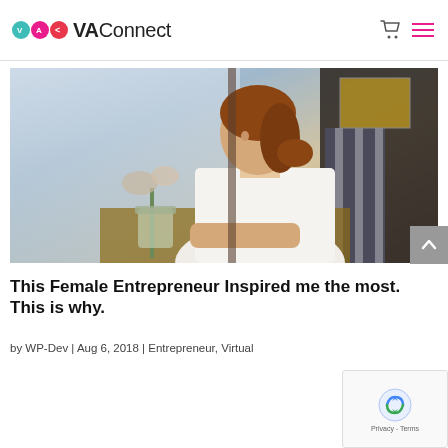VAConnect
[Figure (photo): Young woman with auburn hair in white blouse seated at a cafe table, looking out a window, with dry flowers and a mason jar on the table beside her.]
This Female Entrepreneur Inspired me the most. This is why.
by WP-Dev | Aug 6, 2018 | Entrepreneur, Virtual